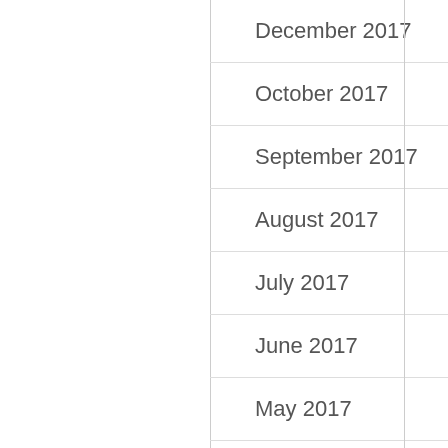December 2017
October 2017
September 2017
August 2017
July 2017
June 2017
May 2017
April 2017
March 2017
December 201…
November 2016